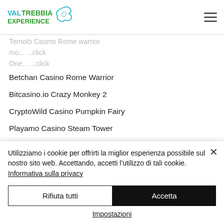[Figure (logo): ValTrebbia Experience logo with teal/green text and decorative icon]
Betchan Casino Rome Warrior
Bitcasino.io Crazy Monkey 2
CryptoWild Casino Pumpkin Fairy
Playamo Casino Steam Tower
Diamond Reels Casino Bingo Billions
Betcoin.ag Casino The Giant
CryptoGames Hercules Son of Zeus
Bspin.io Casino Crazy 7
Syndicate Casino Slotomoji
Utilizziamo i cookie per offrirti la miglior esperienza possibile sul nostro sito web. Accettando, accetti l'utilizzo di tali cookie. Informativa sulla privacy
Rifiuta tutti | Accetta
Impostazioni